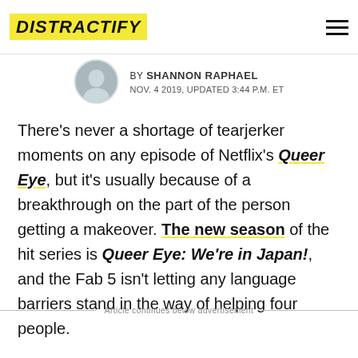DISTRACTIFY
BY SHANNON RAPHAEL
NOV. 4 2019, UPDATED 3:44 P.M. ET
There's never a shortage of tearjerker moments on any episode of Netflix's Queer Eye, but it's usually because of a breakthrough on the part of the person getting a makeover. The new season of the hit series is Queer Eye: We're in Japan!, and the Fab 5 isn't letting any language barriers stand in the way of helping four people.
Article continues below advertisement